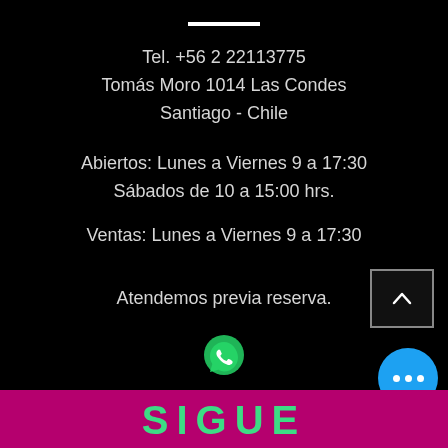Tel. +56 2 22113775
Tomás Moro 1014 Las Condes
Santiago - Chile
Abiertos: Lunes a Viernes 9 a 17:30
Sábados de 10 a 15:00 hrs.
Ventas: Lunes a Viernes 9 a 17:30
Atendemos previa reserva.
[Figure (logo): WhatsApp green icon]
SIGUE